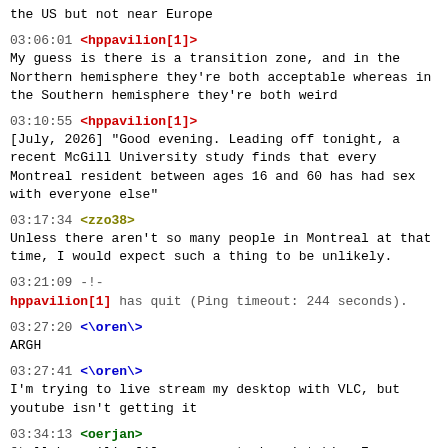the US but not near Europe
03:06:01 <hppavilion[1]>
My guess is there is a transition zone, and in the Northern hemisphere they're both acceptable whereas in the Southern hemisphere they're both weird
03:10:55 <hppavilion[1]>
[July, 2026] "Good evening. Leading off tonight, a recent McGill University study finds that every Montreal resident between ages 16 and 60 has had sex with everyone else"
03:17:34 <zzo38>
Unless there aren't so many people in Montreal at that time, I would expect such a thing to be unlikely.
03:21:09 -!-
hppavilion[1] has quit (Ping timeout: 244 seconds).
03:27:20 <\oren\>
ARGH
03:27:41 <\oren\>
I'm trying to live stream my desktop with VLC, but youtube isn't getting it
03:34:13 <oerjan>
@tell hppavilion[1] you seem to be mistaking Europe for a country tdnh.  ECKs aren't really acceptable in norway between nonrelated adults.
03:34:13 <lambdabot>
Consider it noted.